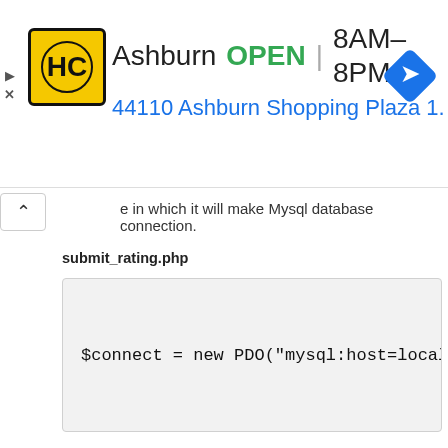[Figure (screenshot): Advertisement banner for HC (Harvest Center) store in Ashburn showing logo, OPEN status, hours 8AM-8PM, address 44110 Ashburn Shopping Plaza 1., and a navigation arrow icon]
e in which it will make Mysql database connection.
submit_rating.php
[Figure (screenshot): Code block showing: $connect = new PDO("mysql:host=localhos]
After making database connection, then it will check $_POST["rating_data"] variable value has been set or not. IF this variable value is set then it will store review and rating data in simple array because here we will use PHP PDO class for insert data into database. And next we have write insert query and execute query for insert review and